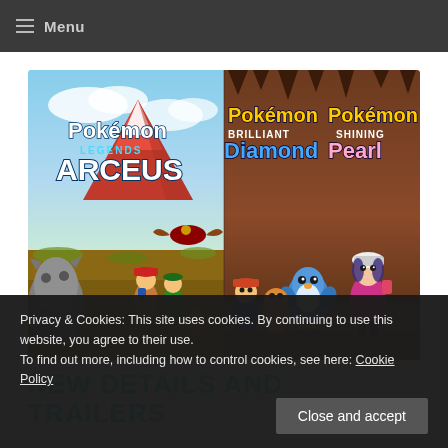Menu
[Figure (illustration): Promotional banner showing three Pokémon games: Pokémon Legends Arceus (left half, outdoor scene with trainer characters and Pokémon), Pokémon Brilliant Diamond and Pokémon Shining Pearl (right half, cave/indoor scene with chibi-style trainer characters and Pokémon including Piplup).]
NEW DETAILS AND TRAILERS
Privacy & Cookies: This site uses cookies. By continuing to use this website, you agree to their use.
To find out more, including how to control cookies, see here: Cookie Policy
Close and accept